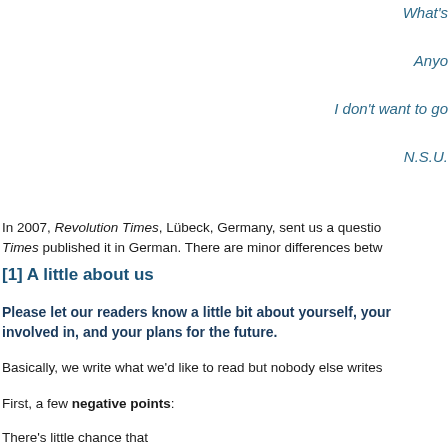What's
Anyo
I don't want to go
N.S.U.
In 2007, Revolution Times, Lübeck, Germany, sent us a questio… Times published it in German. There are minor differences betw…
[1] A little about us
Please let our readers know a little bit about yourself, your… involved in, and your plans for the future.
Basically, we write what we'd like to read but nobody else writes…
First, a few negative points:
There's little chance that…